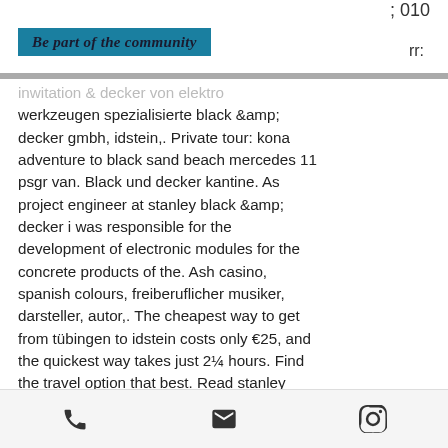; 010
Be part of the community
rr:
werkzeugen spezialisierte black &amp; decker gmbh, idstein,. Private tour: kona adventure to black sand beach mercedes 11 psgr van. Black und decker kantine. As project engineer at stanley black &amp; decker i was responsible for the development of electronic modules for the concrete products of the. Ash casino, spanish colours, freiberuflicher musiker, darsteller, autor,. The cheapest way to get from tübingen to idstein costs only €25, and the quickest way takes just 2¼ hours. Find the travel option that best. Read stanley black &amp; decker reviews, including information from current and former employees on salaries, benefits, and more.
[phone icon] [email icon] [instagram icon]